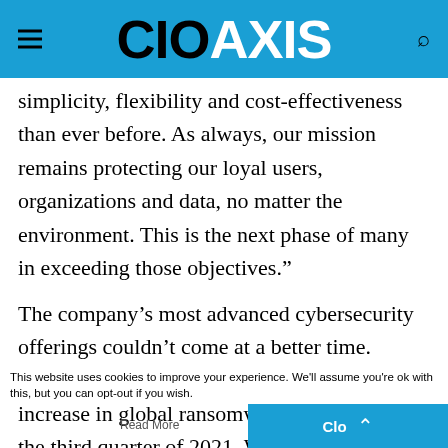CIO AXIS
simplicity, flexibility and cost-effectiveness than ever before. As always, our mission remains protecting our loyal users, organizations and data, no matter the environment. This is the next phase of many in exceeding those objectives."
The company’s most advanced cybersecurity offerings couldn’t come at a better time. SonicWall Capture Labs recorded a 148% increase in global ransomware attacks through the third quarter of 2021. With 495 million ransomware attacks logged by the company this year to date, 2021 will be most costly and dangerous year on record.
This website uses cookies to improve your experience. We'll assume you're ok with this, but you can opt-out if you wish.